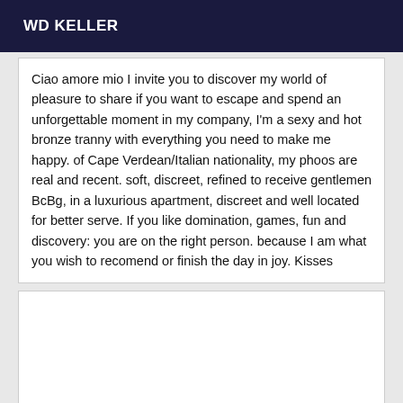WD KELLER
Ciao amore mio I invite you to discover my world of pleasure to share if you want to escape and spend an unforgettable moment in my company, I'm a sexy and hot bronze tranny with everything you need to make me happy. of Cape Verdean/Italian nationality, my phoos are real and recent. soft, discreet, refined to receive gentlemen BcBg, in a luxurious apartment, discreet and well located for better serve. If you like domination, games, fun and discovery: you are on the right person. because I am what you wish to recomend or finish the day in joy. Kisses
[Figure (other): Empty white box below the text content]